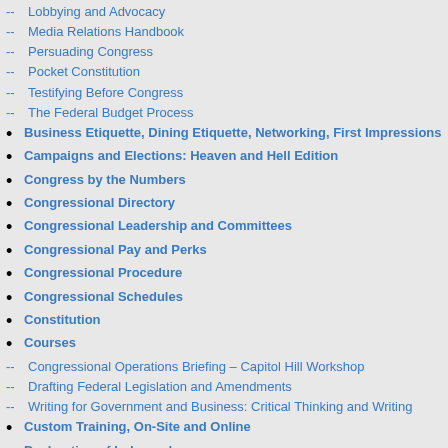-- Lobbying and Advocacy
-- Media Relations Handbook
-- Persuading Congress
-- Pocket Constitution
-- Testifying Before Congress
-- The Federal Budget Process
• Business Etiquette, Dining Etiquette, Networking, First Impressions
• Campaigns and Elections: Heaven and Hell Edition
• Congress by the Numbers
• Congressional Directory
• Congressional Leadership and Committees
• Congressional Pay and Perks
• Congressional Procedure
• Congressional Schedules
• Constitution
• Courses
-- Congressional Operations Briefing – Capitol Hill Workshop
-- Drafting Federal Legislation and Amendments
-- Writing for Government and Business: Critical Thinking and Writing
• Custom Training, On-Site and Online
• Declaration of Independence
• Forbidden Citizens
-- Related Books
Political Cartoons